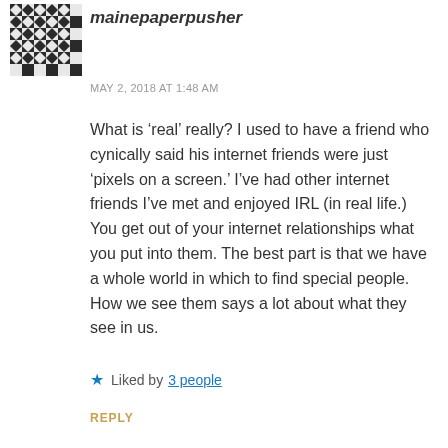[Figure (illustration): A square avatar with a geometric black and white diamond/cross pattern, resembling a woven or tiled design.]
mainepaperpusher
MAY 2, 2018 AT 1:48 AM
What is ‘real’ really? I used to have a friend who cynically said his internet friends were just ‘pixels on a screen.’ I’ve had other internet friends I’ve met and enjoyed IRL (in real life.) You get out of your internet relationships what you put into them. The best part is that we have a whole world in which to find special people. How we see them says a lot about what they see in us.
Liked by 3 people
REPLY